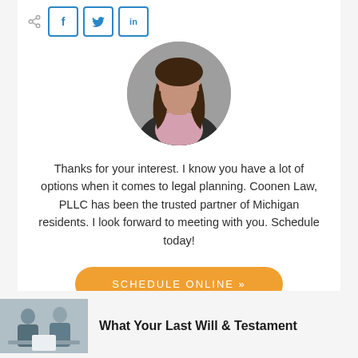[Figure (photo): Social share buttons row with share icon, Facebook (f), Twitter (bird), and LinkedIn (in) buttons in blue outline style]
[Figure (photo): Circular profile photo of a woman with dark hair wearing a black blazer and floral top, against a gray background]
Thanks for your interest. I know you have a lot of options when it comes to legal planning. Coonen Law, PLLC has been the trusted partner of Michigan residents. I look forward to meeting with you. Schedule today!
SCHEDULE ONLINE »
[Figure (photo): Small thumbnail photo showing two people at a desk, appearing to review documents]
What Your Last Will & Testament